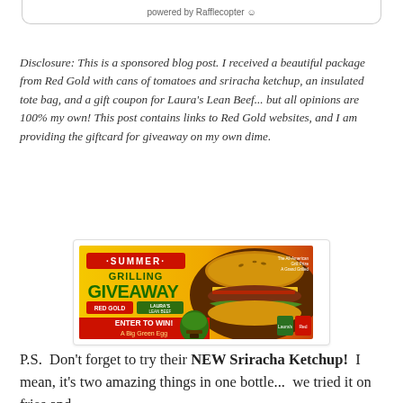powered by Rafflecopter 🙂
Disclosure: This is a sponsored blog post. I received a beautiful package from Red Gold with cans of tomatoes and sriracha ketchup, an insulated tote bag, and a gift coupon for Laura's Lean Beef...  but all opinions are 100% my own!  This post contains links to Red Gold websites, and I am providing the giftcard for giveaway on my own dime.
[Figure (illustration): Summer Grilling Giveaway promotional banner from Red Gold and Laura's Lean Beef. Shows a burger and text 'ENTER TO WIN! A Big Green Egg']
P.S.  Don't forget to try their NEW Sriracha Ketchup!  I mean, it's two amazing things in one bottle...  we tried it on fries and